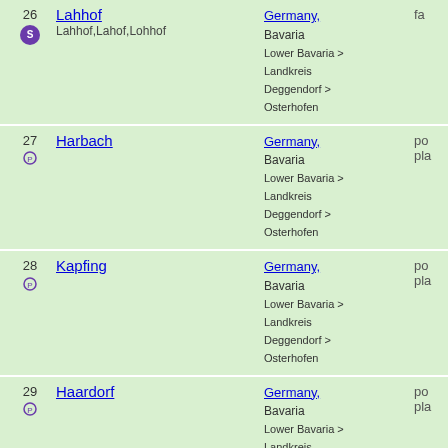| # | Name | Country/Region | Type |
| --- | --- | --- | --- |
| 26 | Lahnof
Lahhof,Lahof,Lohhof | Germany, Bavaria
Lower Bavaria > Landkreis Deggendorf > Osterhofen | fa... |
| 27 | Harbach | Germany, Bavaria
Lower Bavaria > Landkreis Deggendorf > Osterhofen | po... pla... |
| 28 | Kapfing | Germany, Bavaria
Lower Bavaria > Landkreis Deggendorf > Osterhofen | po... pla... |
| 29 | Haardorf | Germany, Bavaria
Lower Bavaria > Landkreis Deggendorf > Osterhofen | po... pla... |
| 30 | Gramling | Germany, Bavaria
Lower Bavaria > Landkreis Deggendorf > Osterhofen | po... pla... |
| 31 | Oberndorf | Germany, Bavaria
Lower Bavaria > Landkreis Deggendorf > Osterhofen | po... pla... |